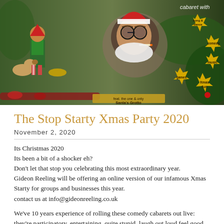[Figure (photo): A festive Christmas-themed promotional banner image featuring a person in a Santa-style costume with glasses and a cigarette, an elf figure with a dog in elf costume, and golden starburst badges reading 'song & dance', 'comedy', 'music', 'games', 'Xmas fun'. Text reads 'cabaret with' and 'feat. the one & only Santa's Grotto'.]
The Stop Starty Xmas Party 2020
November 2, 2020
Its Christmas 2020
Its been a bit of a shocker eh?
Don't let that stop you celebrating this most extraordinary year.
Gideon Reeling will be offering an online version of our infamous Xmas Starty for groups and businesses this year.
contact us at info@gideonreeling.co.uk
We've 10 years experience of rolling these comedy cabarets out live: they're participatory, entertaining, quite stupid, laugh out loud feel good fusion evenings that have become a staple of London freelancers' Christmas calendars.
So if you want an alternative office Christmas party for friends,